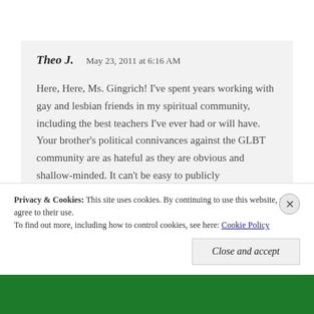Theo J.   May 23, 2011 at 6:16 AM
Here, Here, Ms. Gingrich! I've spent years working with gay and lesbian friends in my spiritual community, including the best teachers I've ever had or will have. Your brother's political connivances against the GLBT community are as hateful as they are obvious and shallow-minded. It can't be easy to publicly acknowledge him as your kin. Thank You
Privacy & Cookies: This site uses cookies. By continuing to use this website, you agree to their use. To find out more, including how to control cookies, see here: Cookie Policy